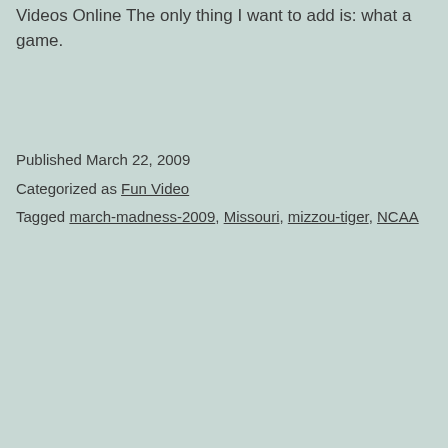Videos Online The only thing I want to add is: what a game.
Published March 22, 2009
Categorized as Fun Video
Tagged march-madness-2009, Missouri, mizzou-tiger, NCAA